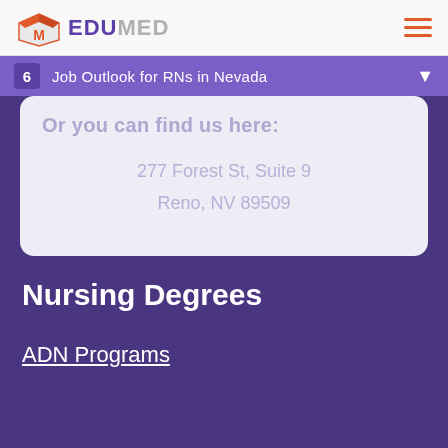EDUMED
6 Job Outlook for RNs in Nevada
Or you can find us here:
277 Forest St, Suite 9
Reno, NV 89509
Nursing Degrees
ADN Programs